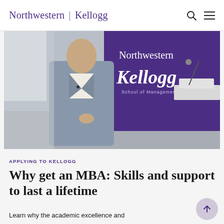Northwestern | Kellogg
[Figure (photo): A man in a grey blazer presenting at a Northwestern Kellogg event, standing in front of a purple Northwestern Kellogg School of Management banner. A white podium with a microphone is visible on the right.]
APPLYING TO KELLOGG
Why get an MBA: Skills and support to last a lifetime
Learn why the academic excellence and